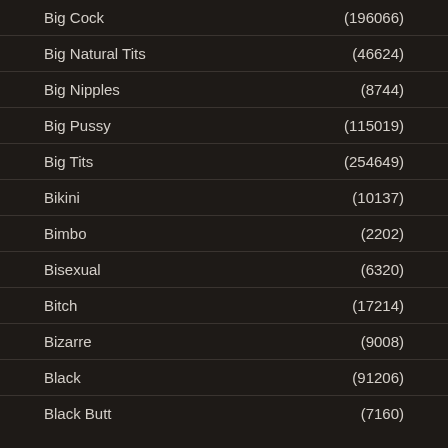Big Cock (196066)
Big Natural Tits (46624)
Big Nipples (8744)
Big Pussy (115019)
Big Tits (254649)
Bikini (10137)
Bimbo (2202)
Bisexual (6320)
Bitch (17214)
Bizarre (9008)
Black (91206)
Black Butt (7160)